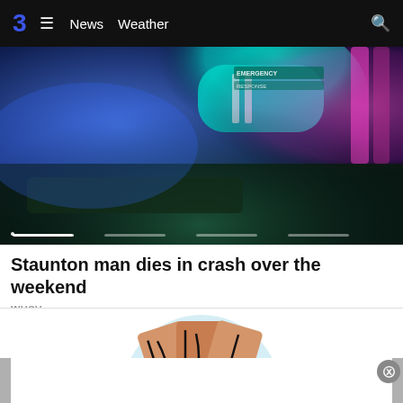3  ≡  News  Weather  🔍
[Figure (photo): Police car lights at night — blue, teal, and pink/red emergency lights on top of a police vehicle, dark background, with a slider carousel indicator bar at the bottom]
Staunton man dies in crash over the weekend
WHSV
[Figure (illustration): Circular illustration with light blue background showing a hand holding playing cards or cash with black line drawings on tan/orange cards, partially visible]
[Figure (other): Advertisement banner with gray side panels and a close (X) button on the right]